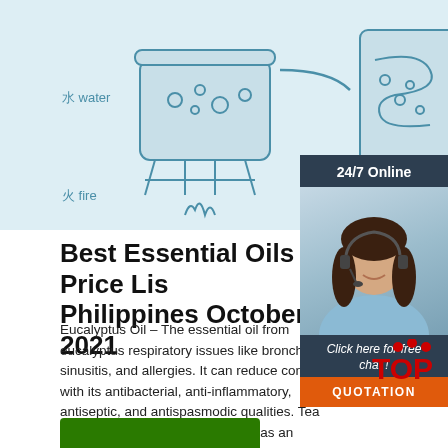[Figure (illustration): Diagram showing essential oil distillation process with labels in Chinese and English: 水 water, 火 fire, 纯露 Hydrosol, essential oil. Line art on light blue background.]
[Figure (photo): Chat widget with dark blue background showing '24/7 Online', photo of woman with headset smiling, text 'Click here for free chat!', and orange QUOTATION button.]
Best Essential Oils Price List Philippines October 2021
Eucalyptus Oil – The essential oil from eucalyptus respiratory issues like bronchitis, sinusitis, and allergies. It can reduce congestion with its antibacterial, anti-inflammatory, antiseptic, and antispasmodic qualities. Tea Tree Oil – Tea tree is best known as an antiseptic, antifungal, and antibiotic essential oil. It can ...
[Figure (illustration): Green button at bottom of page (partially visible)]
[Figure (logo): TOP watermark logo with red dots and red TOP text]